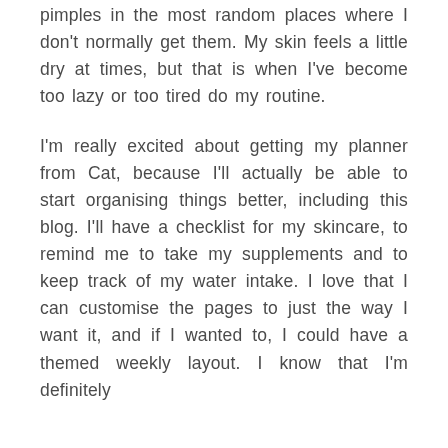pimples in the most random places where I don't normally get them. My skin feels a little dry at times, but that is when I've become too lazy or too tired do my routine.
I'm really excited about getting my planner from Cat, because I'll actually be able to start organising things better, including this blog. I'll have a checklist for my skincare, to remind me to take my supplements and to keep track of my water intake. I love that I can customise the pages to just the way I want it, and if I wanted to, I could have a themed weekly layout. I know that I'm definitely